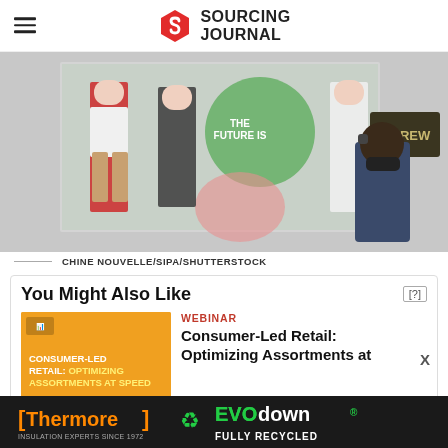Sourcing Journal
[Figure (photo): Storefront window display with fashion mannequins wearing casual clothing including a red jacket, striped top, and jeans. A masked pedestrian walks past a J.Crew store exterior.]
CHINE NOUVELLE/SIPA/SHUTTERSTOCK
You Might Also Like
[Figure (photo): Orange promotional thumbnail for Consumer-Led Retail: Optimizing Assortments at Speed webinar]
WEBINAR
Consumer-Led Retail: Optimizing Assortments at Speed
[Figure (photo): Thermore and EVO down advertisement banner. Text reads: Thermore Insulation Experts Since 1972, EVO down Fully Recycled]